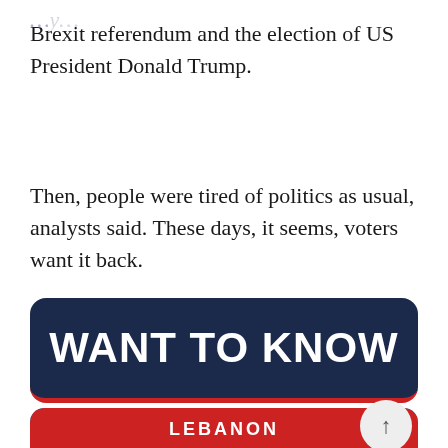Brexit referendum and the election of US President Donald Trump.
Then, people were tired of politics as usual, analysts said. These days, it seems, voters want it back.
[Figure (infographic): Dark navy blue banner with rounded corners and red bottom border reading 'WANT TO KNOW' in large bold white uppercase letters.]
[Figure (map): Map of Lebanon region showing Cyprus, Syria, and Lebanon labeled. Red rounded header bar reads 'LEBANON'. DailyChatter logo in top right. Lebanon highlighted in orange/yellow on blue background map.]